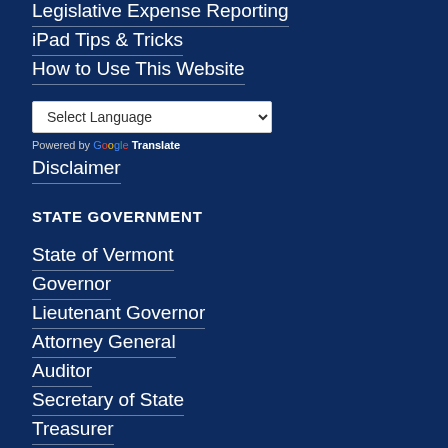Legislative Expense Reporting
iPad Tips & Tricks
How to Use This Website
[Figure (other): Google Translate widget with Select Language dropdown]
Powered by Google Translate
Disclaimer
STATE GOVERNMENT
State of Vermont
Governor
Lieutenant Governor
Attorney General
Auditor
Secretary of State
Treasurer
Judiciary
State Telephone Directory